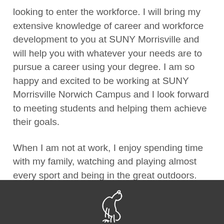looking to enter the workforce. I will bring my extensive knowledge of career and workforce development to you at SUNY Morrisville and will help you with whatever your needs are to pursue a career using your degree. I am so happy and excited to be working at SUNY Morrisville Norwich Campus and I look forward to meeting students and helping them achieve their goals.
When I am not at work, I enjoy spending time with my family, watching and playing almost every sport and being in the great outdoors.
[Figure (logo): White line-art horse/mustang logo on dark grey footer bar]